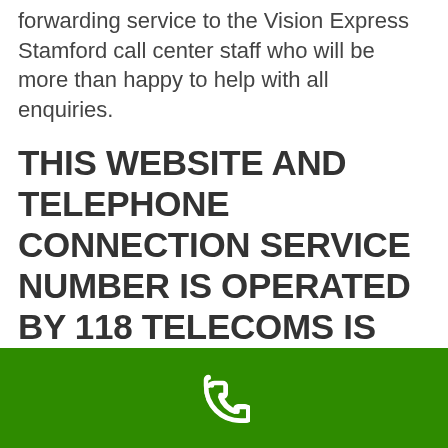forwarding service to the Vision Express Stamford call center staff who will be more than happy to help with all enquiries.
THIS WEBSITE AND TELEPHONE CONNECTION SERVICE NUMBER IS OPERATED BY 118 TELECOMS IS NOT AFFILIATED WITH, OR OPERATED BY, ANY COMPANY LISTED. A DIRECT NUMBER CAN BE OBTAINED FROM EACH OFFICIAL WEBSITE. If you do not wish to use this
[Figure (illustration): Green bar at the bottom with a white telephone handset icon in the center]